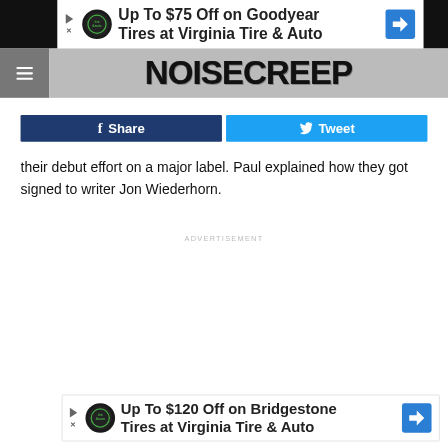[Figure (screenshot): Advertisement banner: Up To $75 Off on Goodyear Tires at Virginia Tire & Auto with tire auto logo and blue direction arrow]
NOISECREEP
[Figure (screenshot): Facebook Share button (dark blue) and Twitter Tweet button (light blue)]
their debut effort on a major label. Paul explained how they got signed to writer Jon Wiederhorn.
ADVERTISEMENT
[Figure (screenshot): Advertisement banner: Up To $120 Off on Bridgestone Tires at Virginia Tire & Auto with tire auto logo and blue direction arrow]